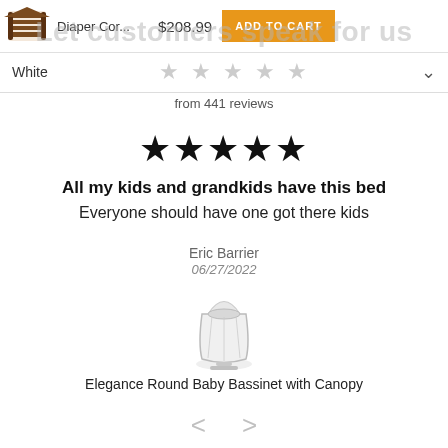Diaper Cor... $208.99 ADD TO CART
Let customers speak for us
White ☆☆☆☆☆ ∨
from 441 reviews
★★★★★
All my kids and grandkids have this bed
Everyone should have one got there kids
Eric Barrier
06/27/2022
[Figure (photo): Product image of Elegance Round Baby Bassinet with Canopy]
Elegance Round Baby Bassinet with Canopy
< >